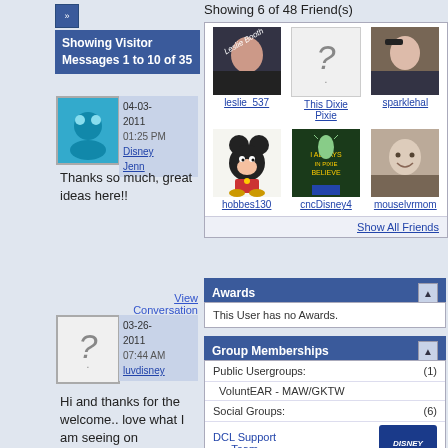Showing Visitor Messages 1 to 10 of 35
[Figure (photo): Disney Jenn avatar - blue cartoon figure]
04-03-2011 01:25 PM Disney Jenn
Thanks so much, great ideas here!!
View Conversation
[Figure (photo): Unknown user avatar - question mark placeholder]
03-26-2011 07:44 AM luvdisney
Hi and thanks for the welcome.. love what I am seeing on
Showing 6 of 48 Friend(s)
[Figure (photo): leslie_537 profile photo]
leslie_537
[Figure (photo): This Dixie Pixie profile photo - question mark]
This Dixie Pixie
[Figure (photo): sparklehal profile photo]
sparklehal
[Figure (photo): hobbes130 profile photo - Mickey Mouse]
hobbes130
[Figure (photo): cncDisney4 profile photo - Tinkerbell]
cncDisney4
[Figure (photo): mouselvrmom profile photo]
mouselvrmom
Show All Friends
Awards
This User has no Awards.
Group Memberships
Public Usergroups: (1)
VoluntEAR - MAW/GKTW
Social Groups: (6)
DCL Support Team